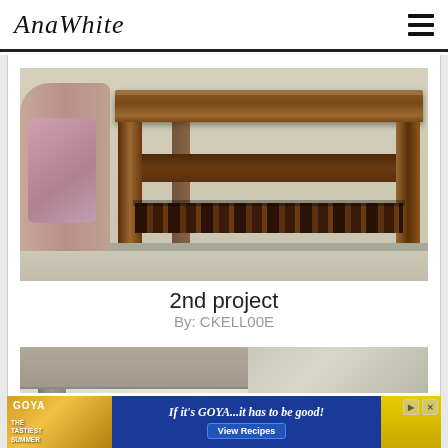AnaWhite
[Figure (photo): Photo of a rustic wooden end table with lower shelf, positioned next to a sofa with pink/mauve cushions, on carpeted floor against a beige wall.]
2nd project
By: CKELL00E
[Figure (photo): Partial view of another wooden furniture piece, appears to be weathered/grey-toned wood, partially cropped at bottom of page.]
[Figure (photo): Advertisement banner: Goya Foods - The Tastiest Summer. Text: If it's GOYA...it has to be good! with View Recipes button.]